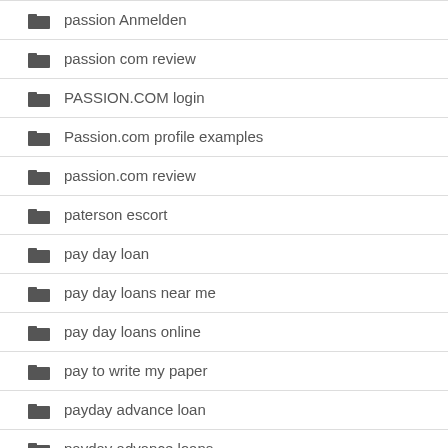passion Anmelden
passion com review
PASSION.COM login
Passion.com profile examples
passion.com review
paterson escort
pay day loan
pay day loans near me
pay day loans online
pay to write my paper
payday advance loan
payday advance loans